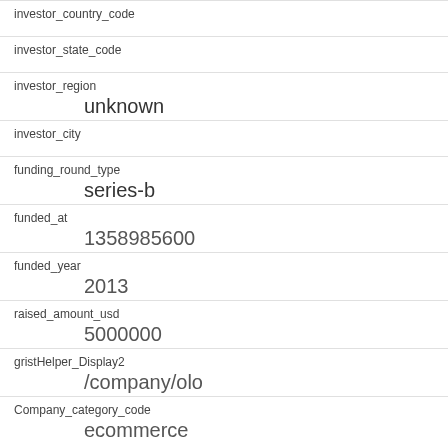investor_country_code
investor_state_code
investor_region
unknown
investor_city
funding_round_type
series-b
funded_at
1358985600
funded_year
2013
raised_amount_usd
5000000
gristHelper_Display2
/company/olo
Company_category_code
ecommerce